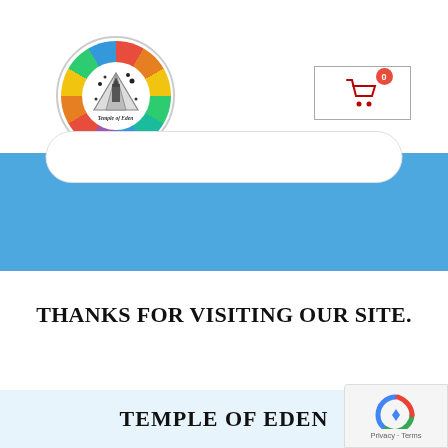[Figure (logo): Temple of Eden circular logo with rainbow/colorful outer ring, pyramid and space imagery in center, black dot decorations around circumference]
[Figure (other): Hamburger menu icon (three horizontal bars)]
[Figure (other): Shopping cart button with 0 badge in red circle, inside a rectangular border]
[Figure (other): Blue banner/search area with white pill-shaped search bar]
THANKS FOR VISITING OUR SITE.
TEMPLE OF EDEN
[Figure (other): Google reCAPTCHA badge with Privacy and Terms links]